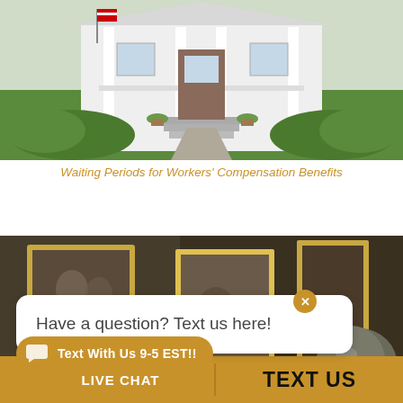[Figure (photo): Exterior photo of a white colonial-style house with green hedges, front porch with columns, steps, and an American flag]
Waiting Periods for Workers' Compensation Benefits
[Figure (photo): Blurred indoor scene with framed photos and decorative objects on a surface]
Have a question? Text us here!
LIVE CHAT   TEXT US